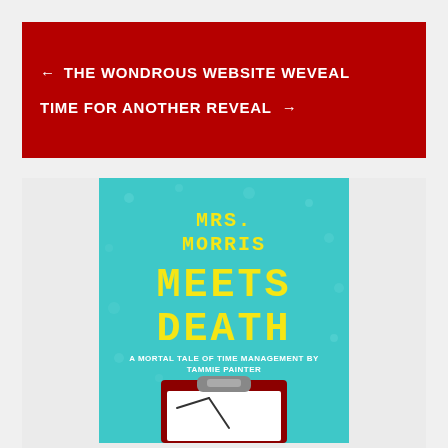← THE WONDROUS WEBSITE WEVEAL
TIME FOR ANOTHER REVEAL →
[Figure (illustration): Book cover for 'Mrs. Morris Meets Death: A Mortal Tale of Time Management by Tammie Painter'. Teal/turquoise background with yellow pixelated text for the title and a clipboard graphic at the bottom.]